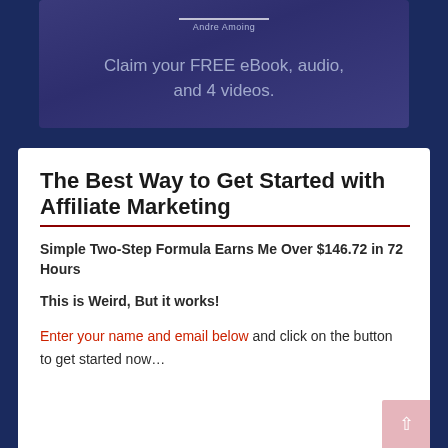[Figure (screenshot): A dark blue/purple gradient banner card with a white horizontal bar, author name 'Andre Amoing' below it, and text reading 'Claim your FREE eBook, audio, and 4 videos.' in muted blue-white color]
The Best Way to Get Started with Affiliate Marketing
Simple Two-Step Formula Earns Me Over $146.72 in 72 Hours
This is Weird, But it works!
Enter your name and email below and click on the button to get started now…